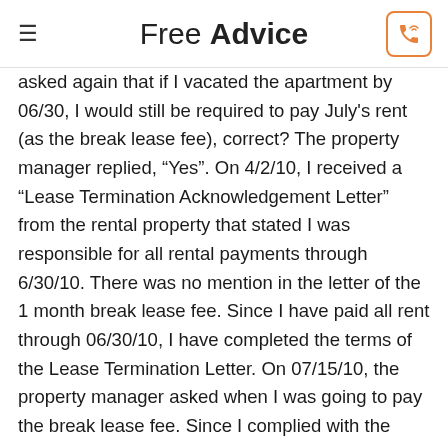Free Advice
asked again that if I vacated the apartment by 06/30, I would still be required to pay July's rent (as the break lease fee), correct? The property manager replied, “Yes”. On 4/2/10, I received a “Lease Termination Acknowledgement Letter” from the rental property that stated I was responsible for all rental payments through 6/30/10. There was no mention in the letter of the 1 month break lease fee. Since I have paid all rent through 06/30/10, I have completed the terms of the Lease Termination Letter. On 07/15/10, the property manager asked when I was going to pay the break lease fee. Since I complied with the lease termination letter and paid all rent through 06/30, am I still responsible for the break lease fee – which I described as “July’s rent” in the e-mail to the property manager? A friend of mine had a rental...